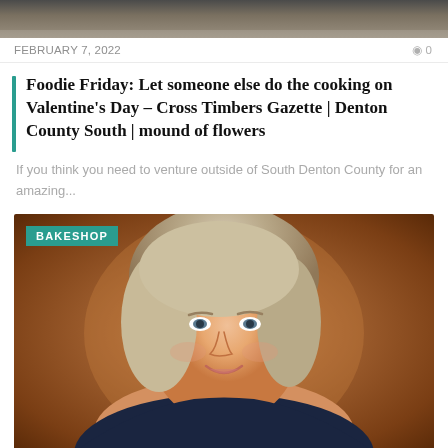[Figure (photo): Top cropped photo strip showing a blurred/dark background image, partially visible at top of page]
FEBRUARY 7, 2022   0
Foodie Friday: Let someone else do the cooking on Valentine's Day – Cross Timbers Gazette | Denton County South | mound of flowers
If you think you need to venture outside of South Denton County for an amazing...
[Figure (photo): Portrait photo of a middle-aged woman with blonde/gray shoulder-length hair, smiling, wearing a dark top with pearl necklace, warm brown background. A teal 'BAKESHOP' label is overlaid in the top-left corner.]